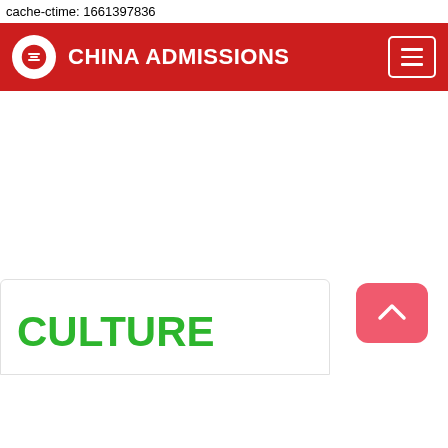cache-ctime: 1661397836
[Figure (screenshot): China Admissions navigation bar with red background, circular logo icon, brand name CHINA ADMISSIONS in white, and hamburger menu button on the right]
[Figure (other): Scroll-to-top button, pink/red rounded rectangle with upward chevron arrow, positioned in lower right of the white content area]
[Figure (other): Partial card at bottom left showing green bold text CULTURE in large uppercase letters, card with border]